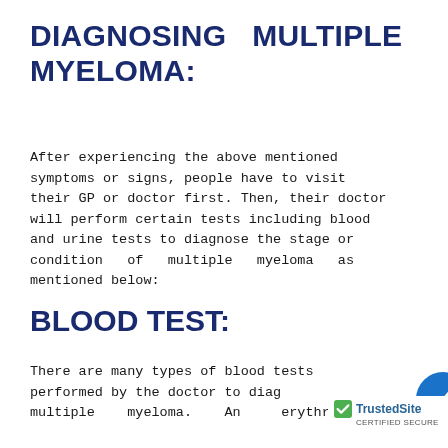DIAGNOSING MULTIPLE MYELOMA:
After experiencing the above mentioned symptoms or signs, people have to visit their GP or doctor first. Then, their doctor will perform certain tests including blood and urine tests to diagnose the stage or condition of multiple myeloma as mentioned below:
BLOOD TEST:
There are many types of blood tests performed by the doctor to diagnose multiple myeloma. An erythro